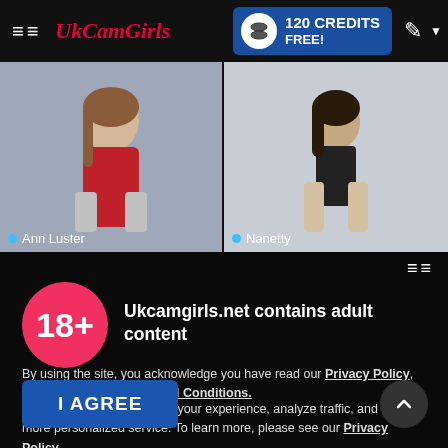UkCamGirls — 120 CREDITS FREE!
[Figure (screenshot): Photo of Ann Luster in red dress]
[Figure (screenshot): Photo of Nanetty in black outfit]
Ukcamgirls.net contains adult content
By using the site, you acknowledge you have read our Privacy Policy, and agree to our Terms and Conditions.
We use cookies to optimize your experience, analyze traffic, and deliver more personalized service. To learn more, please see our Privacy Policy.
I AGREE